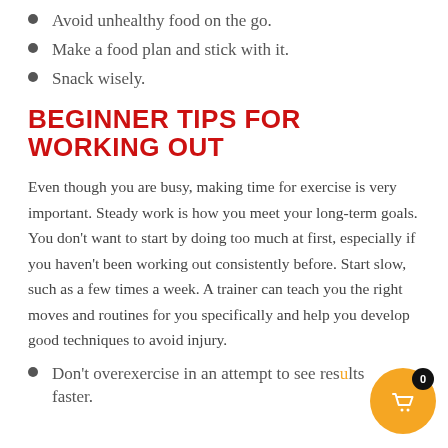Avoid unhealthy food on the go.
Make a food plan and stick with it.
Snack wisely.
BEGINNER TIPS FOR WORKING OUT
Even though you are busy, making time for exercise is very important. Steady work is how you meet your long-term goals. You don’t want to start by doing too much at first, especially if you haven’t been working out consistently before. Start slow, such as a few times a week. A trainer can teach you the right moves and routines for you specifically and help you develop good techniques to avoid injury.
Don’t overexercise in an attempt to see results faster.